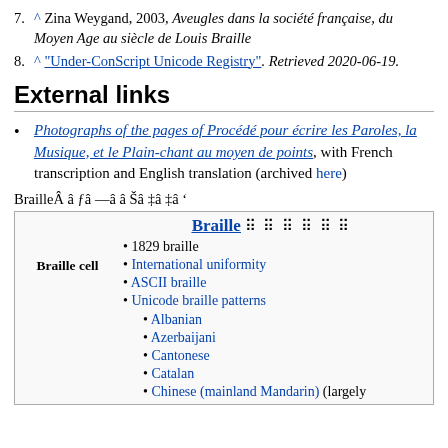7. ^ Zina Weygand, 2003, Aveugles dans la société française, du Moyen Age au siècle de Louis Braille
8. ^ "Under-ConScript Unicode Registry". Retrieved 2020-06-19.
External links
Photographs of the pages of Procédé pour écrire les Paroles, la Musique, et le Plain-chant au moyen de points, with French transcription and English translation (archived here)
BrailleÂ â ƒâ —â ‌â Šâ ‡â ‡â '
Braille ⠿ ⠿ ⠿ ⠿ ⠿ ⠿ — Braille cell navigation box with links: 1829 braille, International uniformity, ASCII braille, Unicode braille patterns, Albanian, Azerbaijani, Cantonese, Catalan, Chinese (mainland Mandarin) (largely